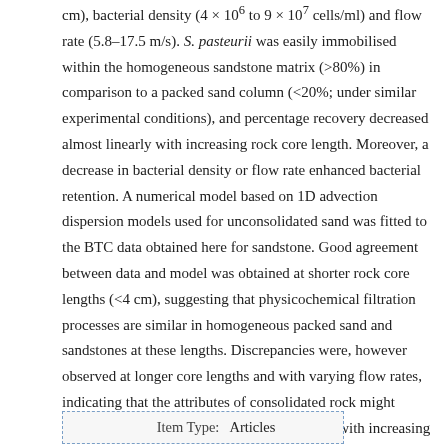cm), bacterial density (4 × 10⁶ to 9 × 10⁷ cells/ml) and flow rate (5.8–17.5 m/s). S. pasteurii was easily immobilised within the homogeneous sandstone matrix (>80%) in comparison to a packed sand column (<20%; under similar experimental conditions), and percentage recovery decreased almost linearly with increasing rock core length. Moreover, a decrease in bacterial density or flow rate enhanced bacterial retention. A numerical model based on 1D advection dispersion models used for unconsolidated sand was fitted to the BTC data obtained here for sandstone. Good agreement between data and model was obtained at shorter rock core lengths (<4 cm), suggesting that physicochemical filtration processes are similar in homogeneous packed sand and sandstones at these lengths. Discrepancies were, however observed at longer core lengths and with varying flow rates, indicating that the attributes of consolidated rock might impact bacterial transport progressively more with increasing core length. Implications of these results on microbial mineralisation technologies currently being developed for sealing fluid paths in subsurface environment is discussed.
| Item Type: | Articles |
| --- | --- |